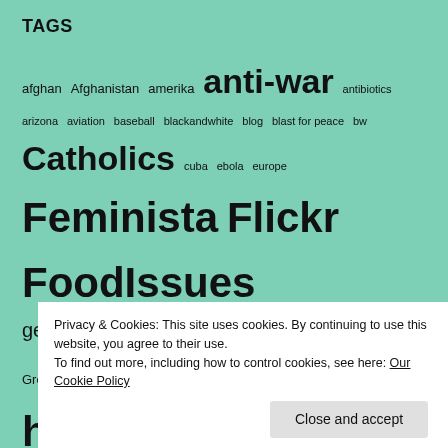TAGS
afghan Afghanistan amerika anti-war antibiotics arizona aviation baseball blackandwhite blog blast for peace bw Catholics cuba ebola europe Feminista Flickr FoodIssues georgeeastmanhouse Grants greece GreenGardens greenstuff haarlem hate human-rights IFTTT Instagram japan karibik kuba La-migra LegislativeWatch libraryofcongress life man maryn mckenna Nasa nationaalarchief nederland newyorkcity OddBox ort palestine pandemic peace people photography Pinterest planet-killers portrait president profiteering project protection racism refugees sea Smile! street sudamerika Tech-Science united states unsafe food urban farm
Privacy & Cookies: This site uses cookies. By continuing to use this website, you agree to their use.
To find out more, including how to control cookies, see here: Our Cookie Policy
Close and accept